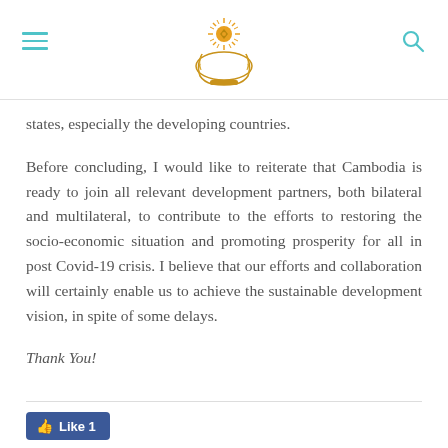[Cambodian government emblem with hamburger menu and search icon]
states, especially the developing countries.
Before concluding, I would like to reiterate that Cambodia is ready to join all relevant development partners, both bilateral and multilateral, to contribute to the efforts to restoring the socio-economic situation and promoting prosperity for all in post Covid-19 crisis. I believe that our efforts and collaboration will certainly enable us to achieve the sustainable development vision, in spite of some delays.
Thank You!